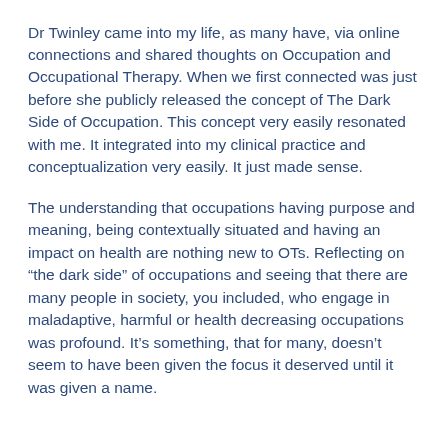Dr Twinley came into my life, as many have, via online connections and shared thoughts on Occupation and Occupational Therapy. When we first connected was just before she publicly released the concept of The Dark Side of Occupation. This concept very easily resonated with me. It integrated into my clinical practice and conceptualization very easily. It just made sense.
The understanding that occupations having purpose and meaning, being contextually situated and having an impact on health are nothing new to OTs. Reflecting on “the dark side” of occupations and seeing that there are many people in society, you included, who engage in maladaptive, harmful or health decreasing occupations was profound. It’s something, that for many, doesn’t seem to have been given the focus it deserved until it was given a name.